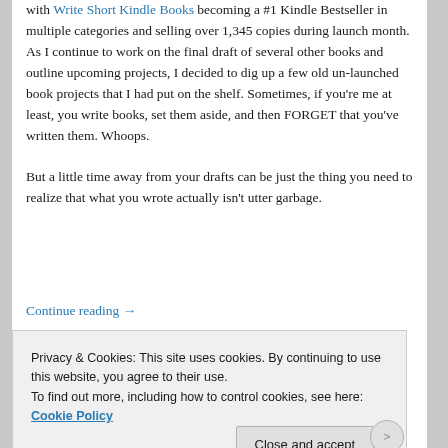with Write Short Kindle Books becoming a #1 Kindle Bestseller in multiple categories and selling over 1,345 copies during launch month. As I continue to work on the final draft of several other books and outline upcoming projects, I decided to dig up a few old un-launched book projects that I had put on the shelf. Sometimes, if you're me at least, you write books, set them aside, and then FORGET that you've written them. Whoops.

But a little time away from your drafts can be just the thing you need to realize that what you wrote actually isn't utter garbage.
Continue reading →
Privacy & Cookies: This site uses cookies. By continuing to use this website, you agree to their use.
To find out more, including how to control cookies, see here: Cookie Policy